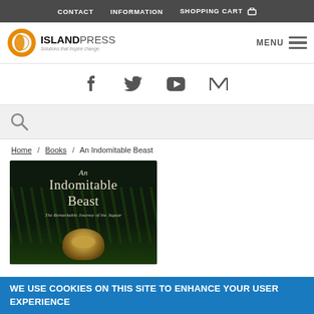CONTACT   INFORMATION   SHOPPING CART
[Figure (logo): Island Press logo with orange circle and text 'ISLAND PRESS — Solutions that inspire change.' and MENU hamburger icon]
[Figure (infographic): Social media icons: Facebook, Twitter, YouTube, Medium]
[Figure (screenshot): Search bar with magnifying glass icon on grey background]
Home / Books / An Indomitable Beast
[Figure (photo): Book cover: An Indomitable Beast — The Remarkable Journey of the Jaguar, dark green background with jaguar cub]
WE USE COOKIES ON THIS SITE TO ENHANCE YOUR USER EXPERIENCE